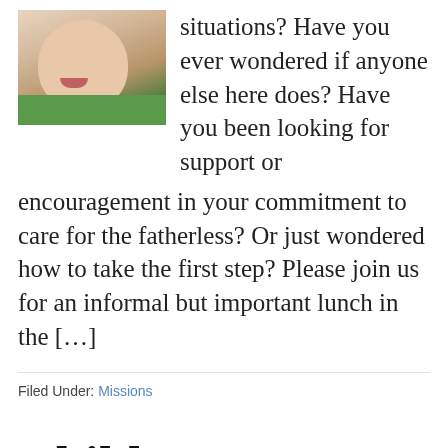[Figure (photo): Close-up photo of a young child's face and upper body, wearing a green shirt, with blurred background]
situations?  Have you ever wondered if anyone else here does?  Have you been looking for support or encouragement in your commitment to care for the fatherless?  Or just wondered how to take the first step?  Please join us for an informal but important lunch in the […]
Filed Under: Missions
Children's Birthday